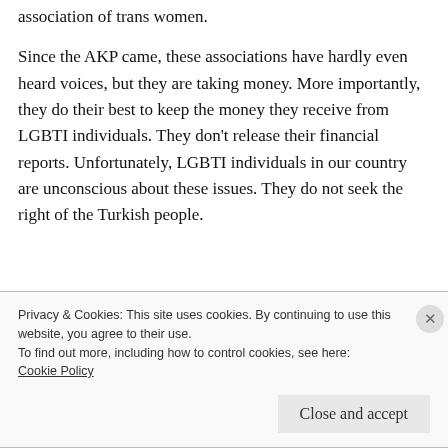association of trans women.
Since the AKP came, these associations have hardly even heard voices, but they are taking money. More importantly, they do their best to keep the money they receive from LGBTI individuals. They don't release their financial reports. Unfortunately, LGBTI individuals in our country are unconscious about these issues. They do not seek the right of the Turkish people.
Privacy & Cookies: This site uses cookies. By continuing to use this website, you agree to their use.
To find out more, including how to control cookies, see here: Cookie Policy
Close and accept